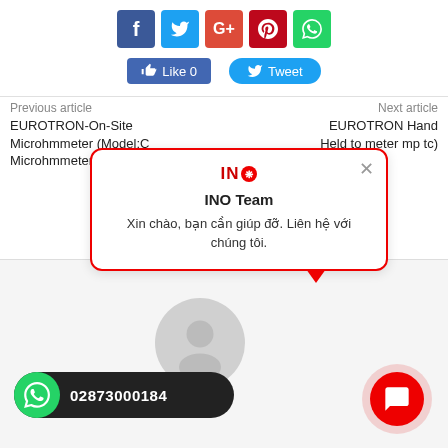[Figure (infographic): Social media sharing icons: Facebook (blue), Twitter (light blue), Google+ (red-orange), Pinterest (dark red), WhatsApp (green)]
[Figure (infographic): Like 0 button (blue) and Tweet button (light blue)]
Previous article
Next article
EUROTRON-On-Site Microhmmeter (Model:C Microhmmeter)
EUROTRON Hand Held to meter mp tc)
[Figure (infographic): INO Team chat popup bubble with logo, title 'INO Team', message 'Xin chào, bạn cần giúp đỡ. Liên hệ với chúng tôi.' and close button X]
[Figure (infographic): WhatsApp contact button showing number 02873000184 on dark background with green WhatsApp icon]
[Figure (infographic): Red circular chat button with speech bubble icon, with pink glow ring around it]